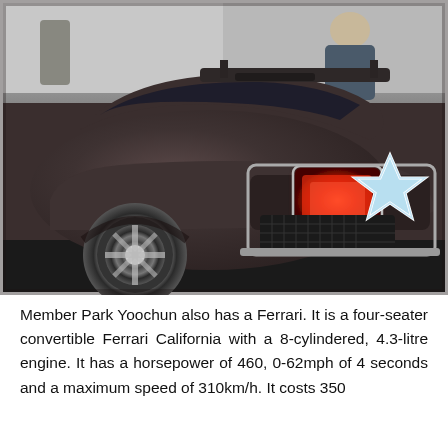[Figure (photo): Rear view of a dark brownish-grey Lamborghini sports car parked in what appears to be an indoor garage. The car shows the rear tail lights glowing red, a rear diffuser with mesh grille, rear spoiler, and chrome wheel. A light blue star emoji/overlay is placed on the right side of the car's rear. A person is partially visible in the background.]
Member Park Yoochun also has a Ferrari. It is a four-seater convertible Ferrari California with a 8-cylindered, 4.3-litre engine. It has a horsepower of 460, 0-62mph of 4 seconds and a maximum speed of 310km/h. It costs 350